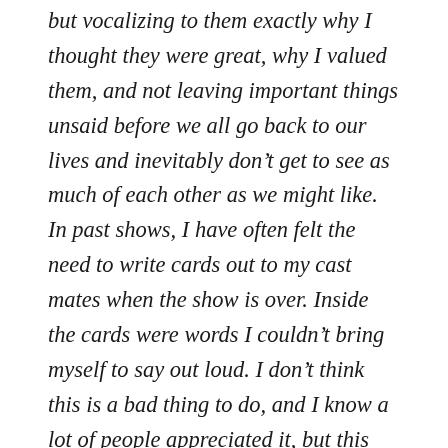but vocalizing to them exactly why I thought they were great, why I valued them, and not leaving important things unsaid before we all go back to our lives and inevitably don't get to see as much of each other as we might like. In past shows, I have often felt the need to write cards out to my cast mates when the show is over. Inside the cards were words I couldn't bring myself to say out loud. I don't think this is a bad thing to do, and I know a lot of people appreciated it, but this time around, I didn't feel the need to write out cards. From the